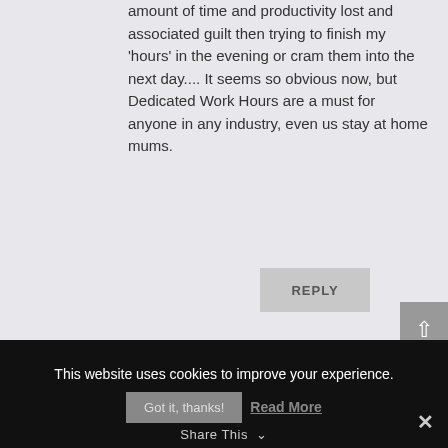amount of time and productivity lost and associated guilt then trying to finish my 'hours' in the evening or cram them into the next day.... It seems so obvious now, but Dedicated Work Hours are a must for anyone in any industry, even us stay at home mums.
REPLY
[Figure (photo): Green plant thumbnail image, partially visible]
This website uses cookies to improve your experience.
Got it, thanks!
Read More
Share This